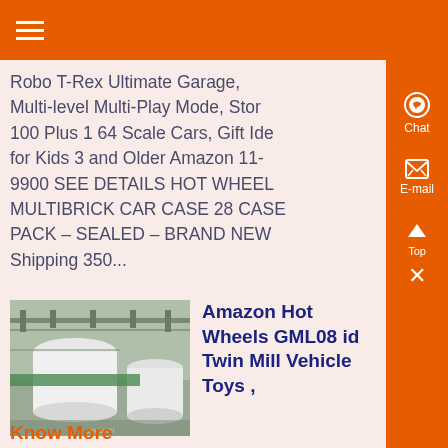Navigation menu header bar
Robo T-Rex Ultimate Garage, Multi-level Multi-Play Mode, Stor 100 Plus 1 64 Scale Cars, Gift Ide for Kids 3 and Older Amazon 11-9900 SEE DETAILS HOT WHEEL MULTIBRICK CAR CASE 28 CASE PACK – SEALED – BRAND NEW Shipping 350...
[Figure (photo): Industrial facility with large white cylindrical tanks and conveyor belt equipment]
Amazon Hot Wheels GML08 id Twin Mill Vehicle Toys ,
Know More